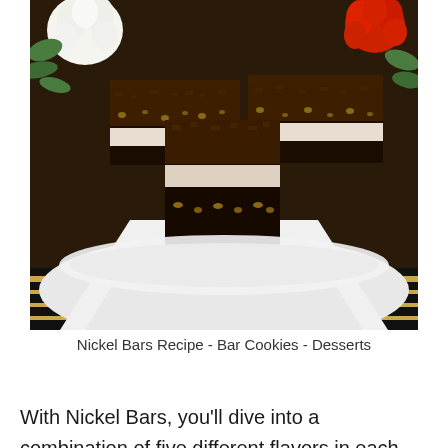[Figure (photo): Photograph of Nickel Bars - chocolate brownie bars with marshmallow layer and chocolate topping, stacked on a white plate, with white and red flowers in background, on a black and gold striped surface.]
Nickel Bars Recipe - Bar Cookies - Desserts
With Nickel Bars, you'll dive into a combination of five different flavors in each bite, including chocolate, peanut butter, marshmallows, and cashews. Crispy rice cereal for a touch of